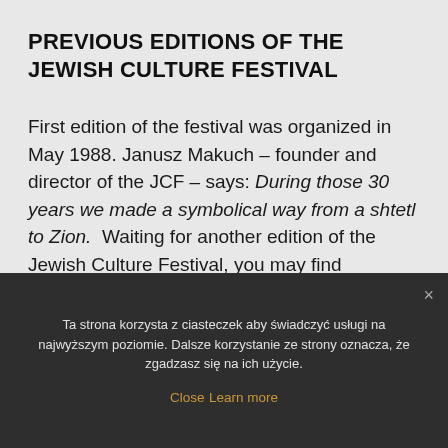PREVIOUS EDITIONS OF THE JEWISH CULTURE FESTIVAL
First edition of the festival was organized in May 1988. Janusz Makuch – founder and director of the JCF – says: During those 30 years we made a symbolical way from a shtetl to Zion.  Waiting for another edition of the Jewish Culture Festival, you may find interesting to have a look at the previous editions of the festival.
Ta strona korzysta z ciasteczek aby świadczyć usługi na najwyższym poziomie. Dalsze korzystanie ze strony oznacza, że zgadzasz się na ich użycie.